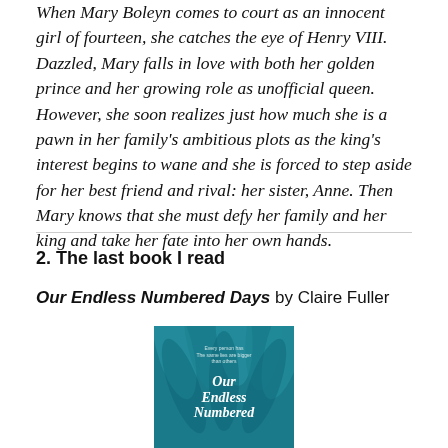When Mary Boleyn comes to court as an innocent girl of fourteen, she catches the eye of Henry VIII. Dazzled, Mary falls in love with both her golden prince and her growing role as unofficial queen. However, she soon realizes just how much she is a pawn in her family's ambitious plots as the king's interest begins to wane and she is forced to step aside for her best friend and rival: her sister, Anne. Then Mary knows that she must defy her family and her king and take her fate into her own hands.
2. The last book I read
Our Endless Numbered Days by Claire Fuller
[Figure (photo): Book cover of 'Our Endless Numbered Days' by Claire Fuller, featuring a teal/blue design with feather-like or leaf patterns and white italic text.]